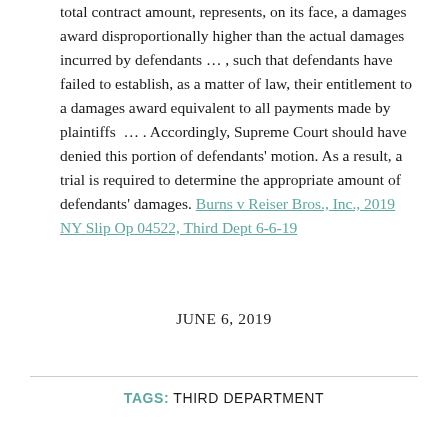total contract amount, represents, on its face, a damages award disproportionally higher than the actual damages incurred by defendants … , such that defendants have failed to establish, as a matter of law, their entitlement to a damages award equivalent to all payments made by plaintiffs  … . Accordingly, Supreme Court should have denied this portion of defendants' motion. As a result, a trial is required to determine the appropriate amount of defendants' damages. Burns v Reiser Bros., Inc., 2019 NY Slip Op 04522, Third Dept 6-6-19
JUNE 6, 2019
TAGS: THIRD DEPARTMENT